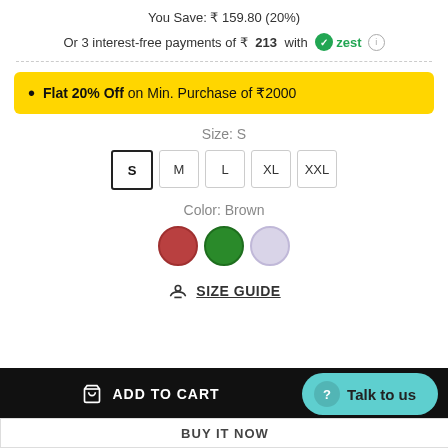You Save: ₹ 159.80 (20%)
Or 3 interest-free payments of ₹ 213 with zest ℹ
Flat 20% Off on Min. Purchase of ₹2000
Size: S
S  M  L  XL  XXL
Color: Brown
[Figure (other): Three color swatches: red/brown, green, lavender]
SIZE GUIDE
ADD TO CART
Talk to us
BUY IT NOW